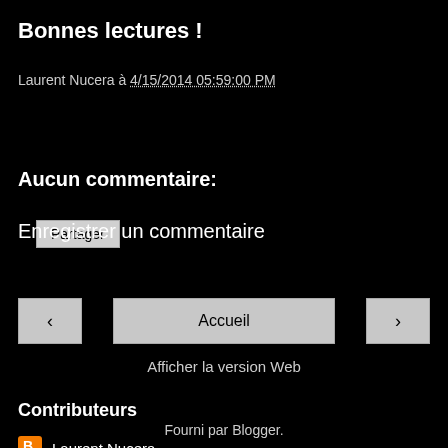Bonnes lectures !
Laurent Nucera à 4/15/2014 05:59:00 PM
Partager
Aucun commentaire:
Enregistrer un commentaire
‹   Accueil   ›
Afficher la version Web
Contributeurs
Laurent Nucera
Unknown
Fourni par Blogger.